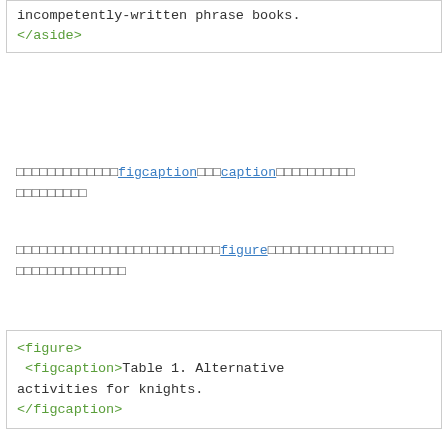incompetently-written phrase books.
</aside>
□□□□□□□□□□□□□figcaption□□□caption□□□□□□□□□□□□□□□□□
□□□□□□□□□□□□□□□□□□□□□□□□□□figure□□□□□□□□□□□□□□□□□□□□□□□□□□□□
<figure>
 <figcaption>Table 1. Alternative activities for knights.
</figcaption>